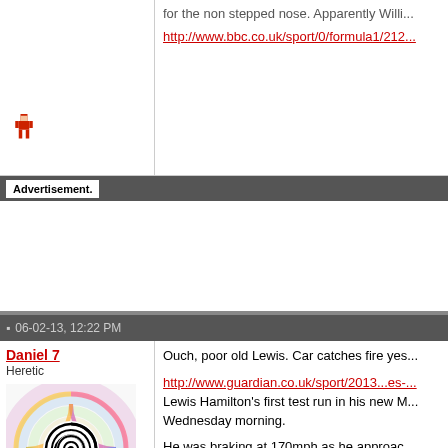for the non stepped nose. Apparently Willi...
http://www.bbc.co.uk/sport/0/formula1/212...
[Figure (illustration): Pixel/sprite avatar icon of a small red figure]
Advertisement.
06-02-13, 12:22 PM
Daniel 7
Heretic
Join Date: Mar 2008
Posts: 23,640
[Figure (illustration): Spiral swirl avatar image with colorful rainbow swirls and a black-and-white spiral center]
Ouch, poor old Lewis. Car catches fire yes...
http://www.guardian.co.uk/sport/2013...es-...
Lewis Hamilton's first test run in his new M... Wednesday morning.
He was braking at 170mph as he approac... car and it went straight on.
Mercedes said that the problem was in the...
"Lewis suffered a loss of rear brake pressu... avoid the barrier," Mercedes said.